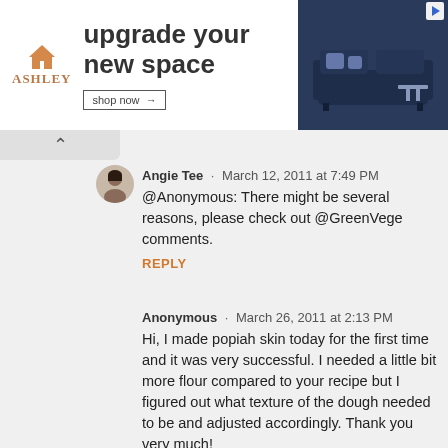[Figure (screenshot): Ashley Furniture advertisement banner: 'upgrade your new space' with shop now button and blue sofa image]
Angie Tee · March 12, 2011 at 7:49 PM
@Anonymous: There might be several reasons, please check out @GreenVege comments.
REPLY
Anonymous · March 26, 2011 at 2:13 PM
Hi, I made popiah skin today for the first time and it was very successful. I needed a little bit more flour compared to your recipe but I figured out what texture of the dough needed to be and adjusted accordingly. Thank you very much!
REPLY
Angie Tee · March 26, 2011 at 2:58 PM